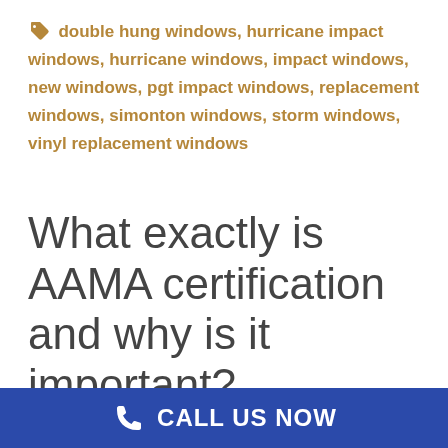double hung windows,  hurricane impact windows,  hurricane windows,  impact windows,  new windows,  pgt impact windows,  replacement windows,  simonton windows,  storm windows,  vinyl replacement windows
What exactly is AAMA certification and why is it important?
Basically, AAMA Certification confirms that the
CALL US NOW